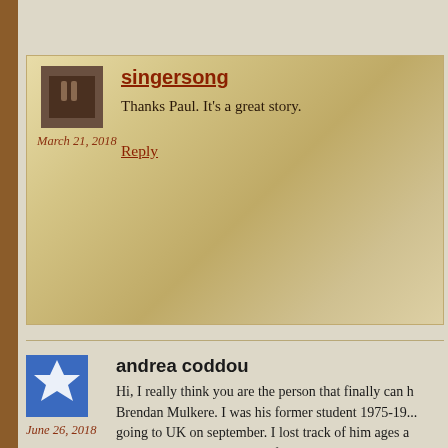singersong
Thanks Paul. It's a great story.
March 21, 2018
Reply
andrea coddou
Hi, I really think you are the person that finally can h... Brendan Mulkere. I was his former student 1975-19... going to UK on september. I lost track of him ages a... Ireland. That man has part of my heart and I would ... you have his mail, or any way I can contact him.

Thank you so much!
Andrea

ps: you have a wonderful blog!! Congrats!!!
June 26, 2018
Reply